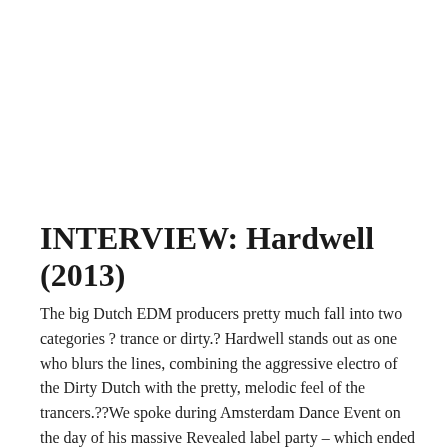INTERVIEW: Hardwell (2013)
The big Dutch EDM producers pretty much fall into two categories ? trance or dirty.? Hardwell stands out as one who blurs the lines, combining the aggressive electro of the Dirty Dutch with the pretty, melodic feel of the trancers.??We spoke during Amsterdam Dance Event on the day of his massive Revealed label party – which ended up being one of the highlights on the entire week.